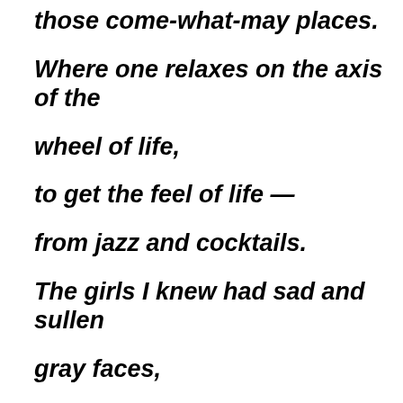those come-what-may places.
Where one relaxes on the axis of the
wheel of life,
to get the feel of life —
from jazz and cocktails.
The girls I knew had sad and sullen
gray faces,
with distant gay traces,